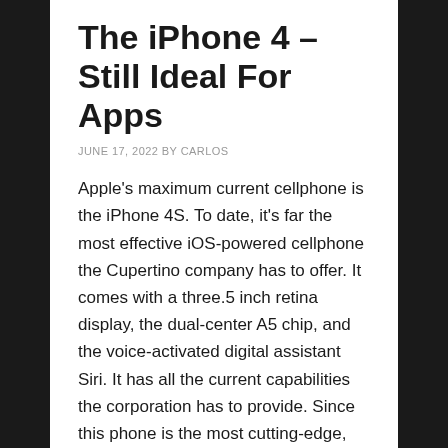The iPhone 4 – Still Ideal For Apps
JUNE 17, 2022 BY CARLOS
Apple's maximum current cellphone is the iPhone 4S. To date, it's far the most effective iOS-powered cellphone the Cupertino company has to offer. It comes with a three.5 inch retina display, the dual-center A5 chip, and the voice-activated digital assistant Siri. It has all the current capabilities the corporation has to provide. Since this phone is the most cutting-edge, it's miles quite expensive. This manner now not all phone consumers can have the funds for to get the cellphone. If you are keen on apps from the App Store, does this imply that you need pikashow to pass over your price range